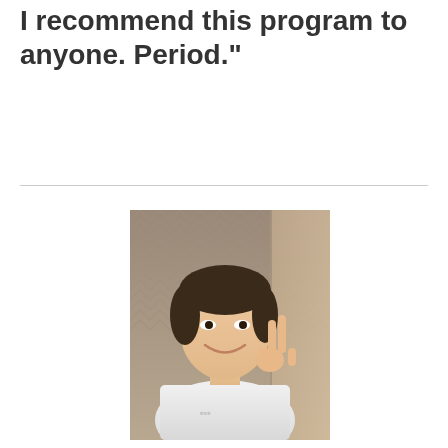I recommend this program to anyone. Period."
[Figure (photo): A young Asian man smiling and making a peace sign with his hand, wearing a white t-shirt, in front of a patterned wallpaper background.]